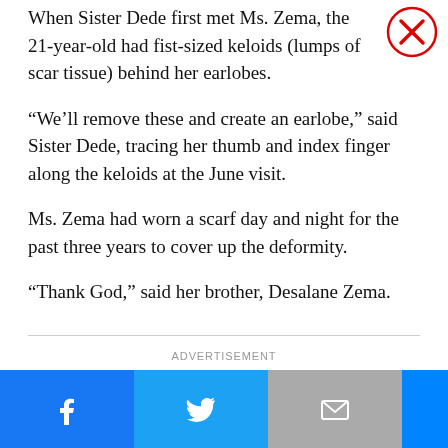When Sister Dede first met Ms. Zema, the 21-year-old had fist-sized keloids (lumps of scar tissue) behind her earlobes.
“We’ll remove these and create an earlobe,” said Sister Dede, tracing her thumb and index finger along the keloids at the June visit.
Ms. Zema had worn a scarf day and night for the past three years to cover up the deformity.
“Thank God,” said her brother, Desalane Zema.
ADVERTISEMENT
[Figure (other): Social sharing bar with Facebook, Twitter, Email, Messenger, More buttons and a NEXT ARTICLE button]